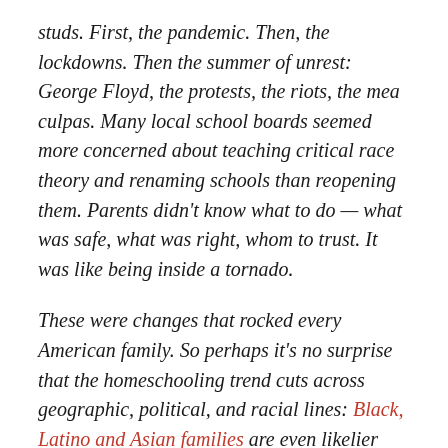studs. First, the pandemic. Then, the lockdowns. Then the summer of unrest: George Floyd, the protests, the riots, the mea culpas. Many local school boards seemed more concerned about teaching critical race theory and renaming schools than reopening them. Parents didn't know what to do — what was safe, what was right, whom to trust. It was like being inside a tornado.
These were changes that rocked every American family. So perhaps it's no surprise that the homeschooling trend cuts across geographic, political, and racial lines: Black, Latino and Asian families are even likelier than white ones to educate their children at home.
All of this is undermining the old, Democratic-